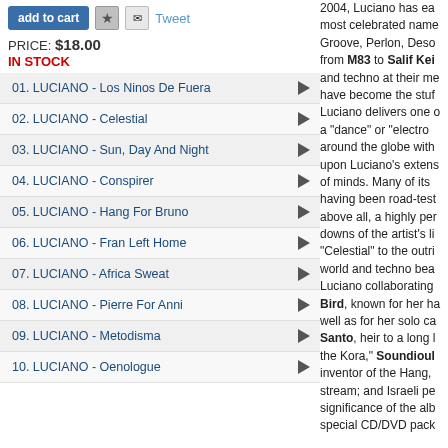add to cart | ★ | ✉ | Tweet
PRICE: $18.00
IN STOCK
01. LUCIANO - Los Ninos De Fuera
02. LUCIANO - Celestial
03. LUCIANO - Sun, Day And Night
04. LUCIANO - Conspirer
05. LUCIANO - Hang For Bruno
06. LUCIANO - Fran Left Home
07. LUCIANO - Africa Sweat
08. LUCIANO - Pierre For Anni
09. LUCIANO - Metodisma
10. LUCIANO - Oenologue
2004, Luciano has ea... most celebrated name... Groove, Perlon, Deso... from M83 to Salif Kei... and techno at their me... have become the stuf... Luciano delivers one o... a "dance" or "electro... around the globe with... upon Luciano's extens... of minds. Many of its ... having been road-test... above all, a highly per... downs of the artist's li... "Celestial" to the outri... world and techno bea... Luciano collaborating... Bird, known for her ha... well as for her solo ca... Santo, heir to a long l... the Kora," Soundioul... inventor of the Hang,... stream; and Israeli pe... significance of the alb... special CD/DVD pack...